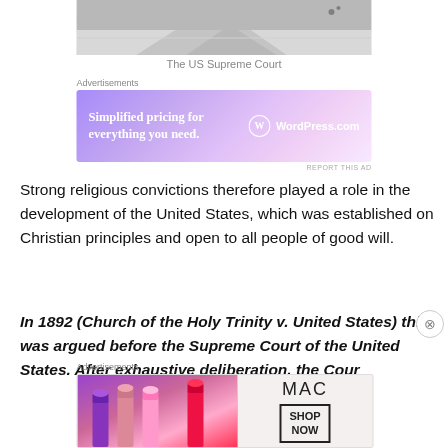[Figure (photo): Partial view of the US Supreme Court building exterior, black and white photo, showing steps and architecture with small figures in background]
The US Supreme Court
[Figure (other): Advertisement banner for WordPress.com with text 'Simplified pricing for everything you need.' and WordPress.com logo on gradient purple-pink background]
Strong religious convictions therefore played a role in the development of the United States, which was established on Christian principles and open to all people of good will.
In 1892 (Church of the Holy Trinity v. United States) this was argued before the Supreme Court of the United States. After exhaustive deliberation, the Cour
[Figure (other): Advertisement banner for MAC cosmetics showing lipsticks in purple, pink and red on left, MAC logo text in center, and SHOP NOW box on right]